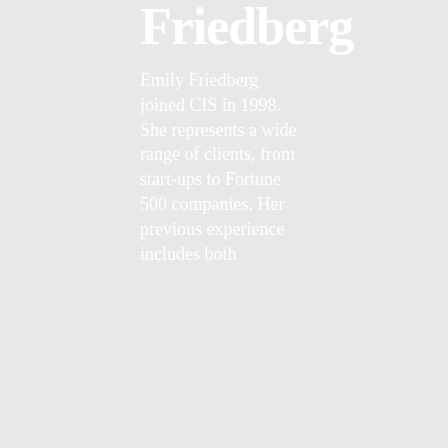Friedberg
Emily Friedberg joined CIS in 1998. She represents a wide range of clients, from start-ups to Fortune 500 companies. Her previous experience includes both